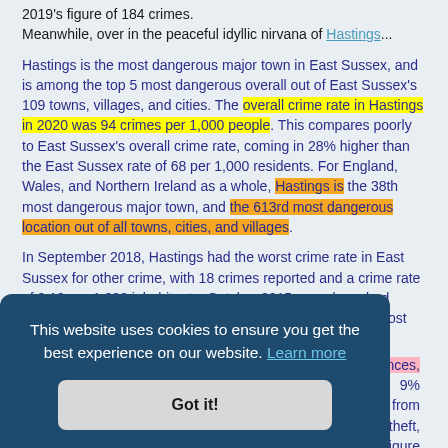2019's figure of 184 crimes.
Meanwhile, over in the peaceful idyllic nirvana of Hastings...
Hastings is the most dangerous major town in East Sussex, and is among the top 5 most dangerous overall out of East Sussex's 109 towns, villages, and cities. The overall crime rate in Hastings in 2020 was 94 crimes per 1,000 people. This compares poorly to East Sussex's overall crime rate, coming in 28% higher than the East Sussex rate of 68 per 1,000 residents. For England, Wales, and Northern Ireland as a whole, Hastings is the 38th most dangerous major town, and the 613rd most dangerous location out of all towns, cities, and villages.
In September 2018, Hastings had the worst crime rate in East Sussex for other crime, with 18 crimes reported and a crime rate of 0.19 per 1,000 inhabitants. October 2015 was also a bad month for Hastings residents, when it was East Sussex's most dangerous area for possession of weapons offences...